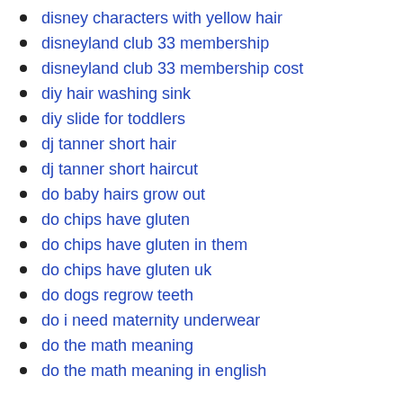disney characters with yellow hair
disneyland club 33 membership
disneyland club 33 membership cost
diy hair washing sink
diy slide for toddlers
dj tanner short hair
dj tanner short haircut
do baby hairs grow out
do chips have gluten
do chips have gluten in them
do chips have gluten uk
do dogs regrow teeth
do i need maternity underwear
do the math meaning
do the math meaning in english